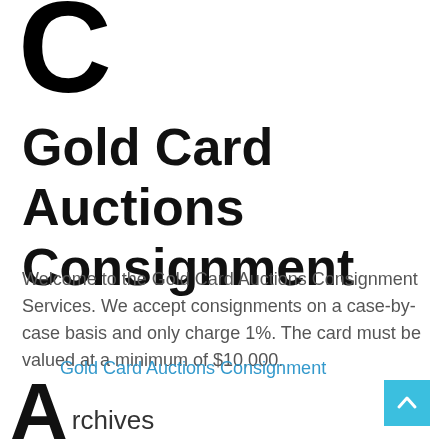[Figure (logo): Large black letter C partial logo mark at top left, cropped]
Gold Card Auctions Consignment
Welcome to the Gold Card Auctions Consignment Services. We accept consignments on a case-by-case basis and only charge 1%. The card must be valued at a minimum of $10,000.
Gold Card Auctions Consignment
rchives